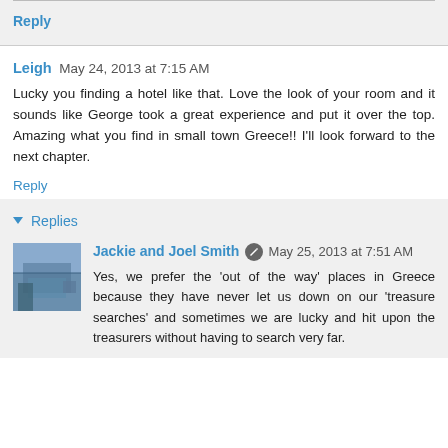Reply
Leigh  May 24, 2013 at 7:15 AM
Lucky you finding a hotel like that. Love the look of your room and it sounds like George took a great experience and put it over the top. Amazing what you find in small town Greece!! I'll look forward to the next chapter.
Reply
Replies
Jackie and Joel Smith  May 25, 2013 at 7:51 AM
Yes, we prefer the 'out of the way' places in Greece because they have never let us down on our 'treasure searches' and sometimes we are lucky and hit upon the treasurers without having to search very far.